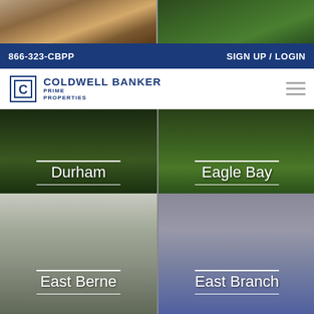[Figure (photo): Two property photos at top: left shows interior with bar stools and hardwood floor, right shows exterior green lawn]
866-323-CBPP    SIGN UP / LOGIN
[Figure (logo): Coldwell Banker Prime Properties logo with CB icon, hamburger menu at right]
[Figure (photo): Two property thumbnails with location labels: Durham (left, dark exterior), Eagle Bay (right, green lawn)]
[Figure (photo): Two property thumbnails: East Berne (left, house facade with windows), East Branch (right, house with American flag)]